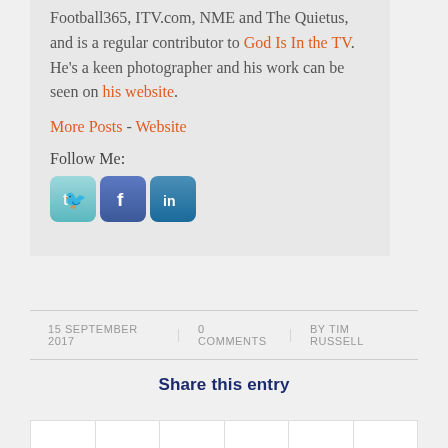Football365, ITV.com, NME and The Quietus, and is a regular contributor to God Is In the TV. He's a keen photographer and his work can be seen on his website.
More Posts - Website
Follow Me:
[Figure (other): Social media icons: Twitter, Facebook, LinkedIn]
15 SEPTEMBER 2017  |  0 COMMENTS  |  BY TIM RUSSELL
Share this entry